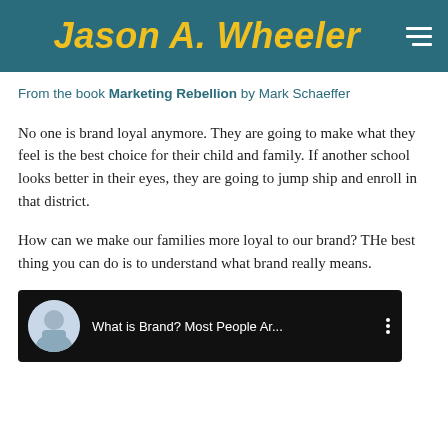Jason A. Wheeler
From the book Marketing Rebellion by Mark Schaeffer
No one is brand loyal anymore. They are going to make what they feel is the best choice for their child and family. If another school looks better in their eyes, they are going to jump ship and enroll in that district.
How can we make our families more loyal to our brand? THe best thing you can do is to understand what brand really means.
[Figure (screenshot): Video thumbnail showing a man in a suit with text 'What is Brand? Most People Ar...' on a dark background]